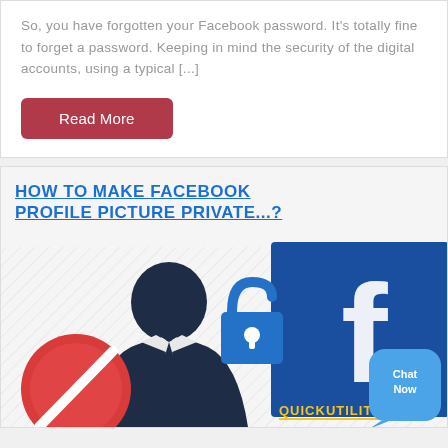So, you have forgotten your Facebook password. It's totally fine to forget a password. Keeping in mind the security of the digital accounts, using a typical [...]
Read More
HOW TO MAKE FACEBOOK PROFILE PICTURE PRIVATE...?
[Figure (illustration): Illustration showing a silhouette of a business person, an open padlock icon, and a large Facebook logo (blue square with white 'f'), a red circle with a diagonal line (no entry symbol), and a 'QUICKUTILITIES' watermark. A blue 'Chat Now' button appears in the bottom right corner.]